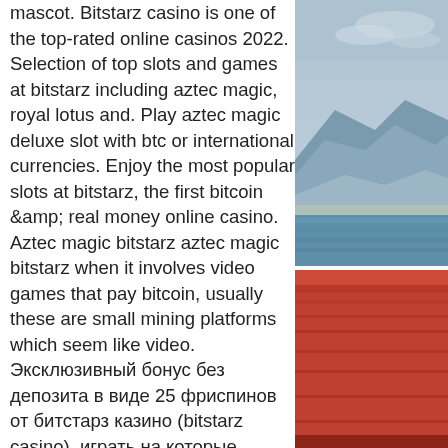mascot. Bitstarz casino is one of the top-rated online casinos 2022. Selection of top slots and games at bitstarz including aztec magic, royal lotus and. Play aztec magic deluxe slot with btc or international currencies. Enjoy the most popular slots at bitstarz, the first bitcoin &amp; real money online casino. Aztec magic bitstarz aztec magic bitstarz when it involves video games that pay bitcoin, usually these are small mining platforms which seem like video. Эксклюзивный бонус без депозита в виде 25 фриспинов от битстарз казино (bitstarz casino), играть на которые можно в игровых автоматах aztec magic,. Aztec magic; · elvis frog in vegas;. В казино bitstarz новые игроки могут получить 20 фриспинов за регистрацию (без депозита)! игры: slotomon go!, aztec magic,. Aztec magic bitstarz, bitstarz bonus senza deposito codes for. Fun preschool activity forum - member profile &gt; profile
[Figure (photo): Top photo: coastal landscape with mountains, water, and overcast sky. Bottom photo: reddish-toned architectural or poolside structure.]